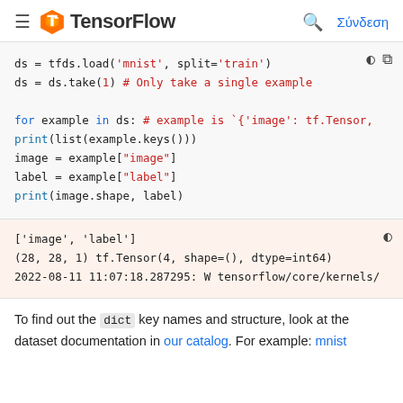TensorFlow — Σύνδεση
[Figure (screenshot): TensorFlow logo with orange TF icon and bold TensorFlow text]
ds = tfds.load('mnist', split='train')
ds = ds.take(1)  # Only take a single example

for example in ds:  # example is `{'image': tf.Tensor,
  print(list(example.keys()))
  image = example["image"]
  label = example["label"]
  print(image.shape, label)
['image', 'label']
(28, 28, 1) tf.Tensor(4, shape=(), dtype=int64)
2022-08-11 11:07:18.287295: W tensorflow/core/kernels/
To find out the dict key names and structure, look at the dataset documentation in our catalog. For example: mnist